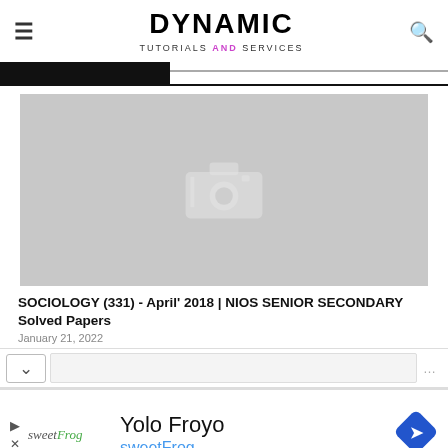DYNAMIC TUTORIALS AND SERVICES
[Figure (photo): Placeholder image with camera icon on grey background]
SOCIOLOGY (331) - April' 2018 | NIOS SENIOR SECONDARY Solved Papers
January 21, 2022
[Figure (screenshot): Advertisement: Yolo Froyo - sweetFrog with logo and navigation icon]